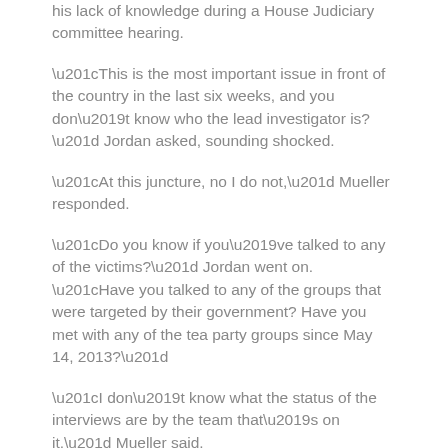his lack of knowledge during a House Judiciary committee hearing.
“This is the most important issue in front of the country in the last six weeks, and you don’t know who the lead investigator is?” Jordan asked, sounding shocked.
“At this juncture, no I do not,” Mueller responded.
“Do you know if you’ve talked to any of the victims?” Jordan went on. “Have you talked to any of the groups that were targeted by their government? Have you met with any of the tea party groups since May 14, 2013?”
“I don’t know what the status of the interviews are by the team that’s on it,” Mueller said.
Reached for comment Thursday afternoon, the FBI’s Washington, D.C. press office transferred TheDC to a long-ringing phone line and eventually hung up.